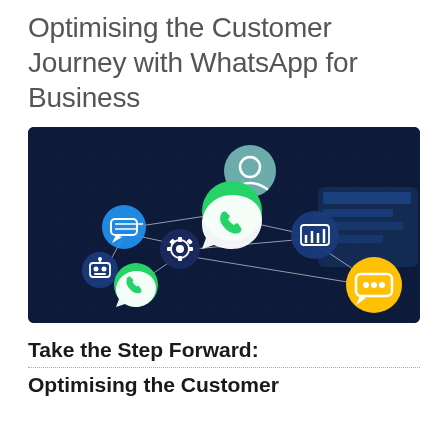Optimising the Customer Journey with WhatsApp for Business
[Figure (illustration): Dark blue digital network illustration showing interconnected circular icons including WhatsApp logos (green), a chat icon (blue), a user profile icon (teal), a data/analytics icon (blue), a robot/AI icon (blue), a yellow chat/stars icon, connected by white lines on a dark navy background.]
Take the Step Forward: Optimising the Customer